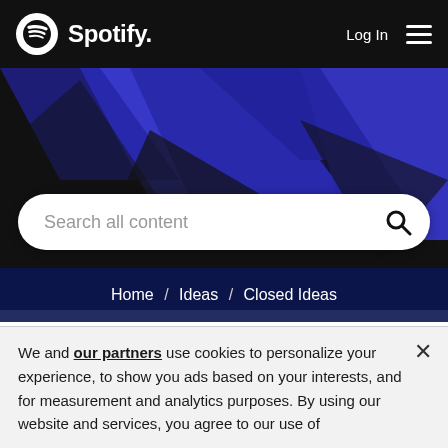Spotify — Log In
[Figure (screenshot): Spotify website header with black background, Spotify logo on the left, Log In text and hamburger menu on the right]
[Figure (illustration): Blue and black geometric diagonal shapes forming the hero background of Spotify website]
Search all content
Home / Ideas / Closed Ideas
[Playlists] Your favorite Artists Non-listened songs playlist
Status: Closed - Not Enough Votes
We and our partners use cookies to personalize your experience, to show you ads based on your interests, and for measurement and analytics purposes. By using our website and services, you agree to our use of